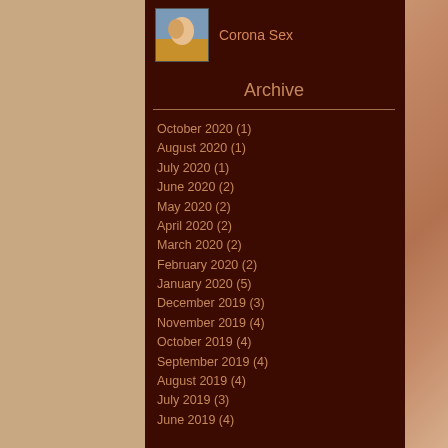Corona Sex
Archive
October 2020 (1)
August 2020 (1)
July 2020 (1)
June 2020 (2)
May 2020 (2)
April 2020 (2)
March 2020 (2)
February 2020 (2)
January 2020 (5)
December 2019 (3)
November 2019 (4)
October 2019 (4)
September 2019 (4)
August 2019 (4)
July 2019 (3)
June 2019 (4)